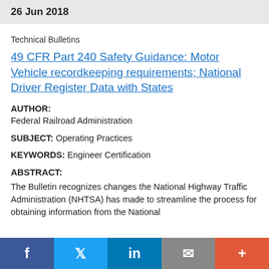26 Jun 2018
Technical Bulletins
49 CFR Part 240 Safety Guidance: Motor Vehicle recordkeeping requirements; National Driver Register Data with States
AUTHOR: Federal Railroad Administration
SUBJECT: Operating Practices
KEYWORDS: Engineer Certification
ABSTRACT:
The Bulletin recognizes changes the National Highway Traffic Administration (NHTSA) has made to streamline the process for obtaining information from the National